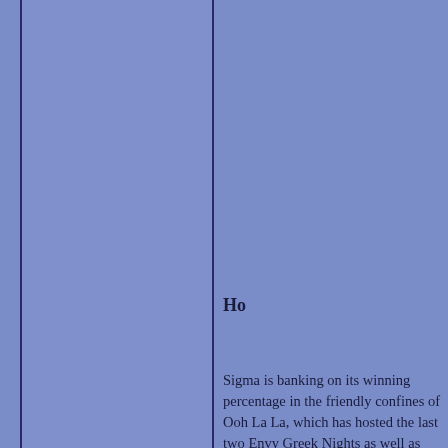[Figure (other): Blue/purple background columns with vertical dark blue border lines forming a multi-column layout. The left column is flanked by two vertical dark navy lines. A vertical divider separates left/center columns.]
Ho
Sigma is banking on its winning percentage in the friendly confines of Ooh La La, which has hosted the last two Envy Greek Nights as well as the YAL Weekend Greek Night back in October. Sigma feels that it is "an excellent venue for a Greek